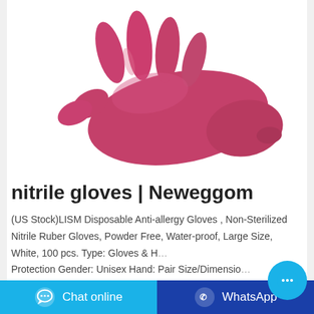[Figure (photo): A pink/magenta nitrile disposable glove laid flat on a white background, showing the full glove with fingers spread.]
nitrile gloves | Neweggom
(US Stock)LISM Disposable Anti-allergy Gloves , Non-Sterilized Nitrile Ruber Gloves, Powder Free, Water-proof, Large Size, White, 100 pcs. Type: Gloves & H... Protection Gender: Unisex Hand: Pair Size/Dimensio... Large Model #: 20206LW Item #: 9SIAMXXC2M1450 ...
[Figure (other): Cyan circular chat bubble button floating on the right side]
Chat online
WhatsApp